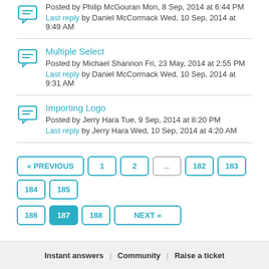Posted by Philip McGouran Mon, 8 Sep, 2014 at 6:44 PM
Last reply by Daniel McCormack Wed, 10 Sep, 2014 at 9:49 AM
Multiple Select
Posted by Michael Shannon Fri, 23 May, 2014 at 2:55 PM
Last reply by Daniel McCormack Wed, 10 Sep, 2014 at 9:31 AM
Importing Logo
Posted by Jerry Hara Tue, 9 Sep, 2014 at 8:20 PM
Last reply by Jerry Hara Wed, 10 Sep, 2014 at 4:20 AM
« PREVIOUS  1  2  ...  182  183  184  185  186  187  188  NEXT »
Instant answers  |  Community  |  Raise a ticket